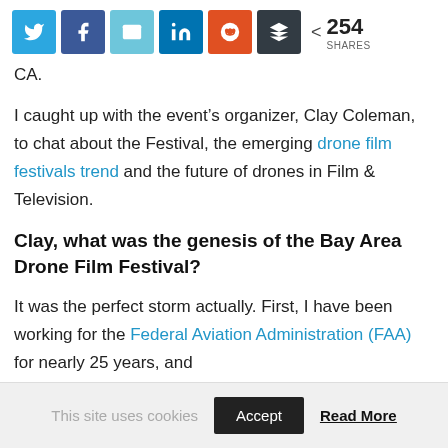[Figure (other): Social sharing bar with Twitter, Facebook, Email, LinkedIn, Reddit, Buffer icons and 254 shares count]
CA.
I caught up with the event's organizer, Clay Coleman, to chat about the Festival, the emerging drone film festivals trend and the future of drones in Film & Television.
Clay, what was the genesis of the Bay Area Drone Film Festival?
It was the perfect storm actually. First, I have been working for the Federal Aviation Administration (FAA) for nearly 25 years, and
This site uses cookies  Accept  Read More